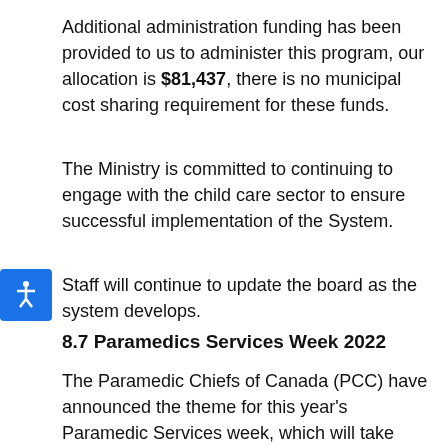Additional administration funding has been provided to us to administer this program, our allocation is $81,437, there is no municipal cost sharing requirement for these funds.
The Ministry is committed to continuing to engage with the child care sector to ensure successful implementation of the System.
Staff will continue to update the board as the system develops.
8.7 Paramedics Services Week 2022
The Paramedic Chiefs of Canada (PCC) have announced the theme for this year's Paramedic Services week, which will take place on May 22nd-28th. As you already know, Paramedic Services Week is a celebration of and for all of the paramedics who serve across Canada and is an opportunity to recognize the vital role paramedics...